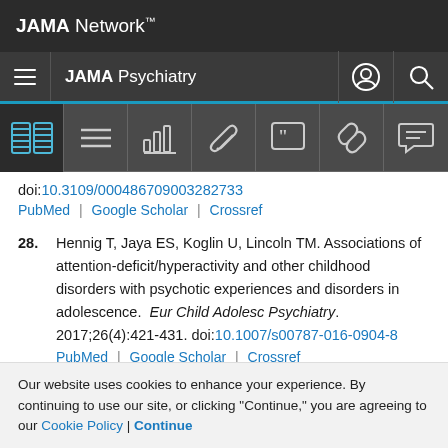JAMA Network
JAMA Psychiatry
doi:10.3109/000486709003282733
PubMed | Google Scholar | Crossref
28. Hennig T, Jaya ES, Koglin U, Lincoln TM. Associations of attention-deficit/hyperactivity and other childhood disorders with psychotic experiences and disorders in adolescence. Eur Child Adolesc Psychiatry. 2017;26(4):421-431. doi:10.1007/s00787-016-0904-8
PubMed | Google Scholar | Crossref
Our website uses cookies to enhance your experience. By continuing to use our site, or clicking "Continue," you are agreeing to our Cookie Policy | Continue